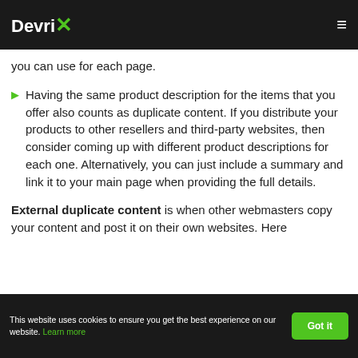DevriX
you can use for each page.
Having the same product description for the items that you offer also counts as duplicate content. If you distribute your products to other resellers and third-party websites, then consider coming up with different product descriptions for each one. Alternatively, you can just include a summary and link it to your main page when providing the full details.
External duplicate content is when other webmasters copy your content and post it on their own websites. Here
This website uses cookies to ensure you get the best experience on our website. Learn more   Got it